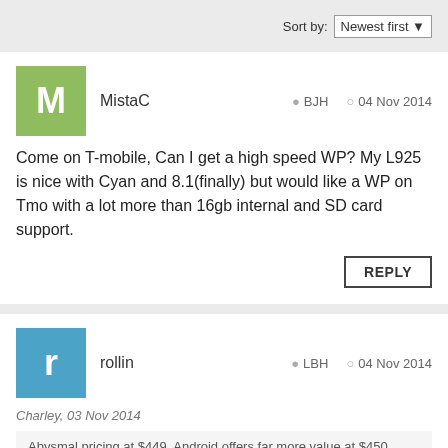Sort by: Newest first
MistaC   BJH   04 Nov 2014
Come on T-mobile, Can I get a high speed WP? My L925 is nice with Cyan and 8.1(finally) but would like a WP on Tmo with a lot more than 16gb internal and SD card support.
REPLY
rollin   LBH   04 Nov 2014
Charley, 03 Nov 2014
Abysmal pricing at $449. Android offers far more value at $450
you can get unlocked version of the lumia 830 at